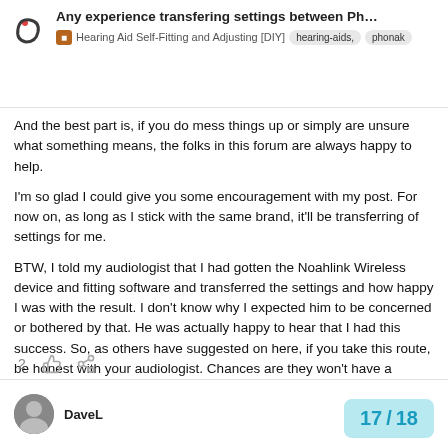Any experience transfering settings between Ph... | Hearing Aid Self-Fitting and Adjusting [DIY] | hearing-aids, phonak
And the best part is, if you do mess things up or simply are unsure what something means, the folks in this forum are always happy to help.
I'm so glad I could give you some encouragement with my post. For now on, as long as I stick with the same brand, it'll be transferring of settings for me.
BTW, I told my audiologist that I had gotten the Noahlink Wireless device and fitting software and transferred the settings and how happy I was with the result. I don't know why I expected him to be concerned or bothered by that. He was actually happy to hear that I had this success. So, as others have suggested on here, if you take this route, be honest with your audiologist. Chances are they won't have a problem with it.
DaveL  17 / 18